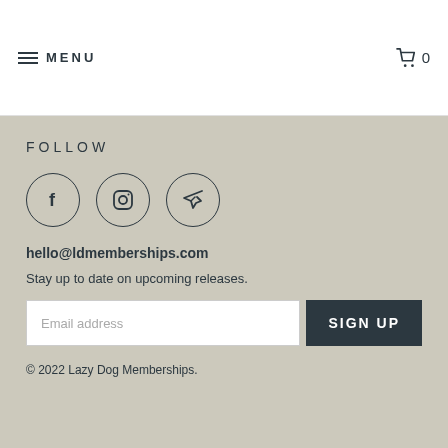MENU  0
FOLLOW
[Figure (illustration): Three social media icons in circles: Facebook (f), Instagram (camera), and Telegram (paper plane)]
hello@ldmemberships.com
Stay up to date on upcoming releases.
Email address  SIGN UP
© 2022 Lazy Dog Memberships.